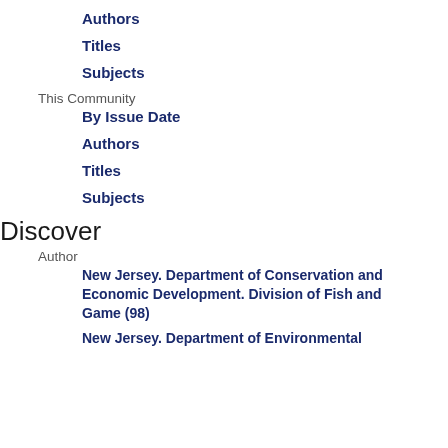Authors
Titles
Subjects
This Community
By Issue Date
Authors
Titles
Subjects
Discover
Author
New Jersey. Department of Conservation and Economic Development. Division of Fish and Game (98)
New Jersey. Department of Environmental